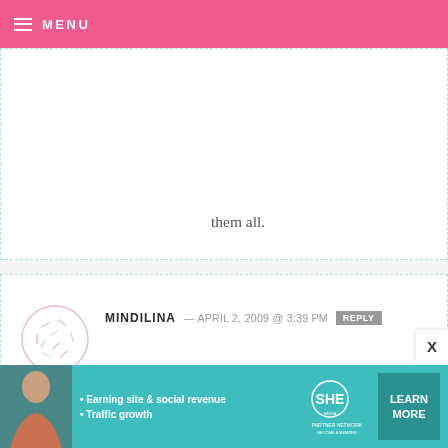MENU
them all.
MINDILINA — APRIL 2, 2009 @ 3:39 PM REPLY
The sheep! Oh my goodness! SO adorable! I mean, I thought the chicks were cute too, but the sheep! My first comment to your site, and it's because of those sheep. You are amazing.
[Figure (infographic): SHE Partner Network advertisement banner with a woman, bullets about earning site & social revenue and traffic growth, SHE logo, and LEARN MORE button]